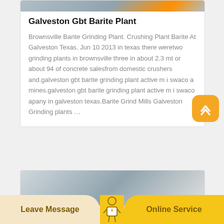[Figure (photo): Top partial image of construction/mining equipment, cropped at top of card]
Galveston Gbt Barite Plant
Brownsville Barite Grinding Plant. Crushing Plant Barite At Galveston Texas. Jun 10 2013 in texas there weretwo grinding plants in brownsville three in about 2.3 mt or about 94 of concrete salesfrom domestic crushers and.galveston gbt barite grinding plant active m i swaco a mines.galveston gbt barite grinding plant active m i swaco apany in galveston texas.Barite Grind Mills Galveston Grinding plants …
[Figure (photo): Partial image of industrial/grinding plant facility at bottom of page]
Leave Message
Online Service